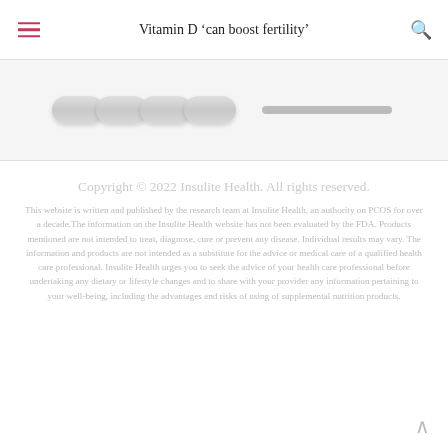Vitamin D 'can boost fertility'
[Figure (photo): Partial view of supplement pills/capsules arranged in a row with a gray bar to the right, on a light gray background]
Copyright © 2022 Insulite Health. All rights reserved.
This website is written and published by the research team at Insulite Health, an authority on PCOS for over a decade.The information on the Insulite Health website has not been evaluated by the FDA. Products mentioned are not intended to treat, diagnose, cure or prevent any disease. Individual results may vary. The information and products are not intended as a substitute for the advice or medical care of a qualified health care professional. Insulite Health urges you to seek the advice of your health care professional before undertaking any dietary or lifestyle changes and to share with your provider any information pertaining to your well-being, including the advantages and risks of using of supplemental nutrition products.